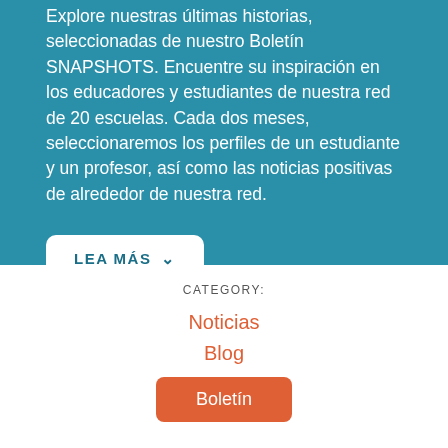Explore nuestras últimas historias, seleccionadas de nuestro Boletín SNAPSHOTS. Encuentre su inspiración en los educadores y estudiantes de nuestra red de 20 escuelas. Cada dos meses, seleccionaremos los perfiles de un estudiante y un profesor, así como las noticias positivas de alrededor de nuestra red.
LEA MÁS ∨
CATEGORY:
Noticias
Blog
Boletín